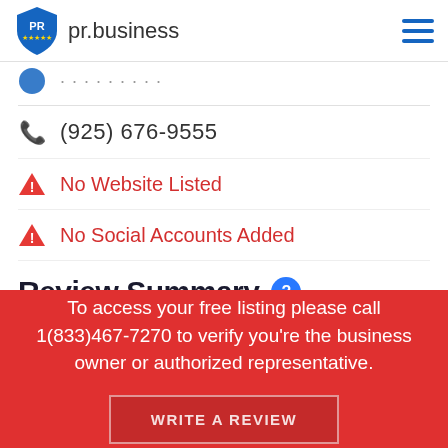pr.business
(925) 676-9555
No Website Listed
No Social Accounts Added
Review Summary
To access your free listing please call 1(833)467-7270 to verify you're the business owner or authorized representative.
WRITE A REVIEW